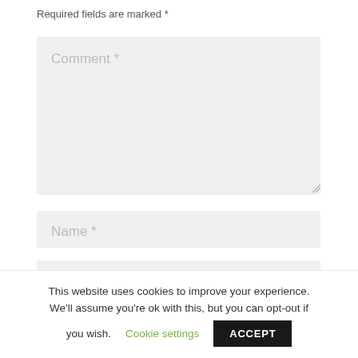Required fields are marked *
Comment *
Name *
Email *
This website uses cookies to improve your experience. We'll assume you're ok with this, but you can opt-out if you wish. Cookie settings ACCEPT